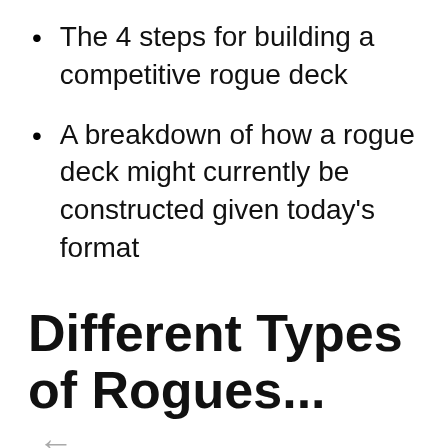The 4 steps for building a competitive rogue deck
A breakdown of how a rogue deck might currently be constructed given today's format
Different Types of Rogues...
There are a few different connotations that people maintain when it comes to the idea of the “rogue” deck. While the